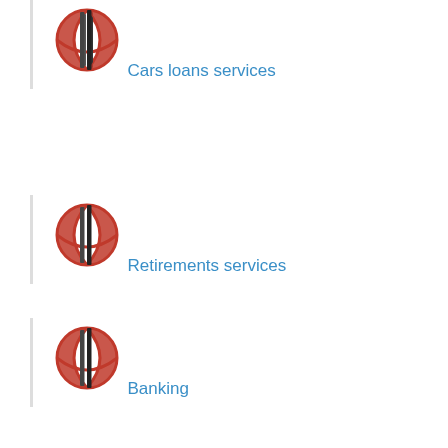Cars loans services
Retirements services
Banking
Invests